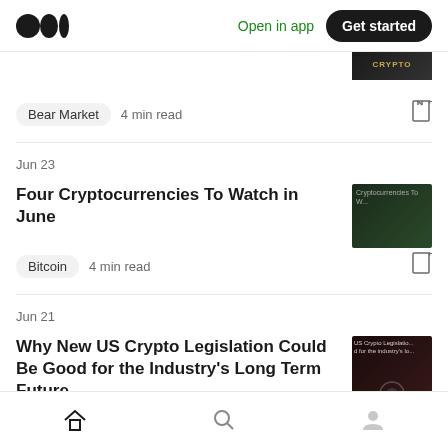Medium logo | Open in app | Get started
[Figure (screenshot): Partial article thumbnail showing CRYPTO text on dark background at top]
Bear Market  4 min read
Jun 23
Four Cryptocurrencies To Watch in June
[Figure (screenshot): Dark green thumbnail showing Cryptocurrencies To text]
Bitcoin  4 min read
Jun 21
Why New US Crypto Legislation Could Be Good for the Industry's Long Term Future
[Figure (screenshot): Dark red/black thumbnail showing US Crypto Legislation article image]
Us Law  4 min read
Home | Search | Profile navigation